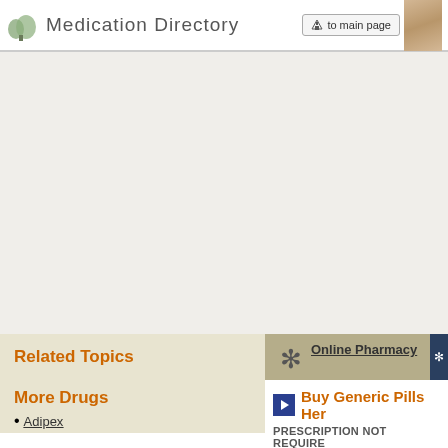Medication Directory | to main page
[Figure (other): Advertisement banner area (blank/gray)]
Related Topics
Online Pharmacy We provide you with the best medical resources on the net.
More Drugs
Adipex
Buy Generic Pills Here PRESCRIPTION NOT REQUIRE